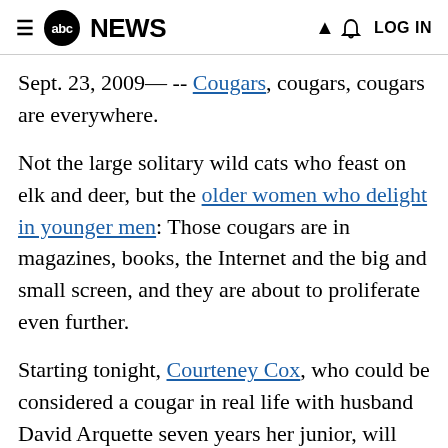abc NEWS  LOG IN
Sept. 23, 2009— -- Cougars, cougars, cougars are everywhere.
Not the large solitary wild cats who feast on elk and deer, but the older women who delight in younger men: Those cougars are in magazines, books, the Internet and the big and small screen, and they are about to proliferate even further.
Starting tonight, Courteney Cox, who could be considered a cougar in real life with husband David Arquette seven years her junior, will also play one on the small screen in the ABC sitcom "Cougar Town."